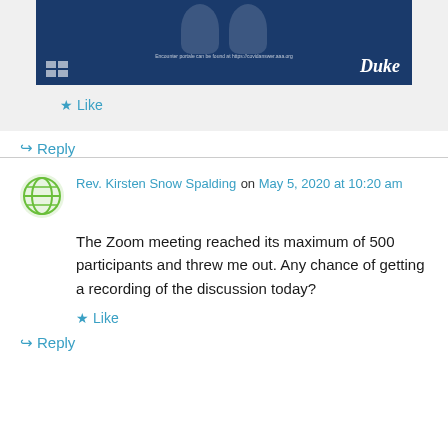[Figure (photo): Duke University branded image with dark blue background, small portraits, caption text, and Duke logo in bottom right]
Like
Reply
Rev. Kirsten Snow Spalding on May 5, 2020 at 10:20 am
The Zoom meeting reached its maximum of 500 participants and threw me out. Any chance of getting a recording of the discussion today?
Like
Reply